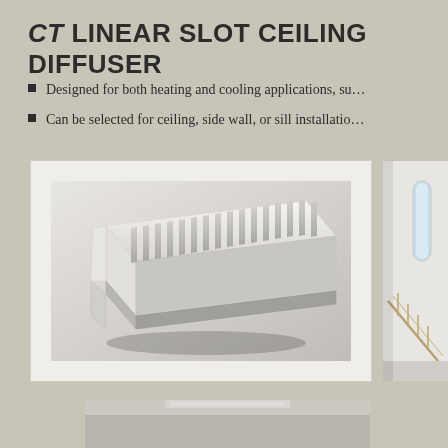CT LINEAR SLOT CEILING DIFFUSER
Designed for both heating and cooling applications, su…
Can be selected for ceiling, side wall, or sill installatio…
[Figure (photo): Close-up product photo of a CT linear slot ceiling diffuser showing white housing with parallel metal fins/slots arranged diagonally]
[Figure (photo): Interior photo showing a white room with staircase and linear slot diffuser installed in ceiling]
[Figure (photo): Partial interior photo at bottom of page showing room with diffuser installation]